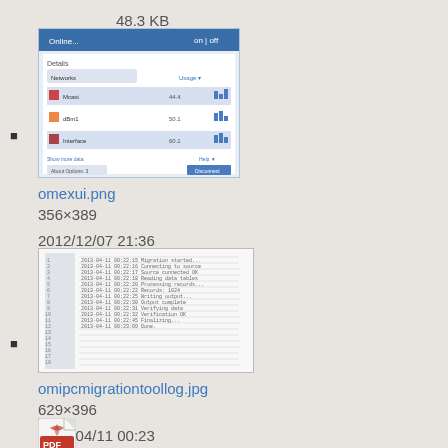48.3 KB
[Figure (screenshot): Thumbnail of omexui.png showing a software UI window]
omexui.png
356×389
2012/12/07 21:36
29.1 KB
[Figure (screenshot): Thumbnail of omipcmigrationtoollog.jpg showing a log file]
omipcmigrationtoollog.jpg
629×396
2013/04/11 00:23
123.3 KB
[Figure (illustration): PDF file icon for omp_2.3_release_notes.pdf]
omp_2.3_release_notes.pdf
2012/08/28 17:50